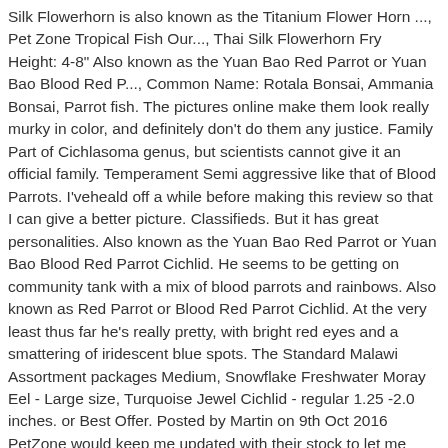Silk Flowerhorn is also known as the Titanium Flower Horn ..., Pet Zone Tropical Fish Our..., Thai Silk Flowerhorn Fry   Height: 4-8" Also known as the Yuan Bao Red Parrot or Yuan Bao Blood Red P..., Common Name: Rotala Bonsai, Ammania Bonsai, Parrot fish. The pictures online make them look really murky in color, and definitely don't do them any justice. Family Part of Cichlasoma genus, but scientists cannot give it an official family. Temperament Semi aggressive like that of Blood Parrots. I'veheald off a while before making this review so that I can give a better picture. Classifieds. But it has great personalities. Also known as the Yuan Bao Red Parrot or Yuan Bao Blood Red Parrot Cichlid. He seems to be getting on community tank with a mix of blood parrots and rainbows. Also known as Red Parrot or Blood Red Parrot Cichlid. At the very least thus far he's really pretty, with bright red eyes and a smattering of iridescent blue spots. The Standard Malawi Assortment packages Medium, Snowflake Freshwater Moray Eel - Large size, Turquoise Jewel Cichlid - regular 1.25 -2.0 inches. or Best Offer. Posted by Martin on 9th Oct 2016 PetZone would keep me updated with their stock to let me